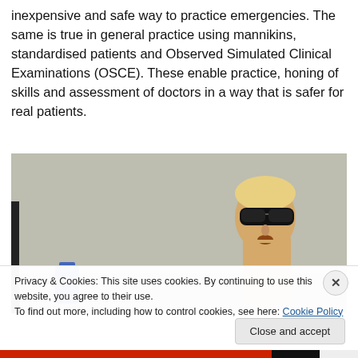inexpensive and safe way to practice emergencies. The same is true in general practice using mannikins, standardised patients and Observed Simulated Clinical Examinations (OSCE). These enable practice, honing of skills and assessment of doctors in a way that is safer for real patients.
[Figure (photo): A medical training mannikin with dark glasses/goggles, shown from roughly chest up, positioned in what appears to be a clinical training room. A blue object is visible in the lower left.]
Privacy & Cookies: This site uses cookies. By continuing to use this website, you agree to their use.
To find out more, including how to control cookies, see here: Cookie Policy